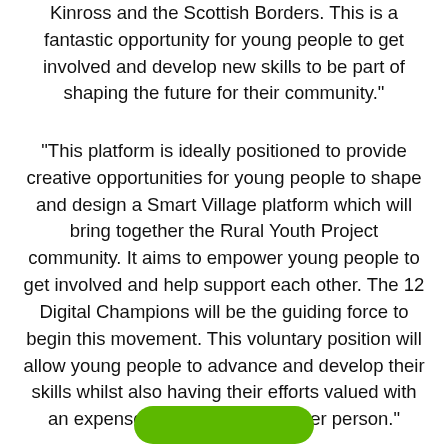Kinross and the Scottish Borders. This is a fantastic opportunity for young people to get involved and develop new skills to be part of shaping the future for their community."
"This platform is ideally positioned to provide creative opportunities for young people to shape and design a Smart Village platform which will bring together the Rural Youth Project community. It aims to empower young people to get involved and help support each other. The 12 Digital Champions will be the guiding force to begin this movement. This voluntary position will allow young people to advance and develop their skills whilst also having their efforts valued with an expenses package of £500 per person."
[Figure (other): Green rounded button at the bottom of the page]